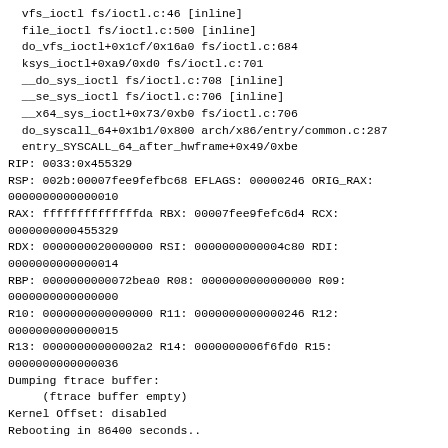vfs_ioctl fs/ioctl.c:46 [inline]
  file_ioctl fs/ioctl.c:500 [inline]
  do_vfs_ioctl+0x1cf/0x16a0 fs/ioctl.c:684
  ksys_ioctl+0xa9/0xd0 fs/ioctl.c:701
  __do_sys_ioctl fs/ioctl.c:708 [inline]
  __se_sys_ioctl fs/ioctl.c:706 [inline]
  __x64_sys_ioctl+0x73/0xb0 fs/ioctl.c:706
  do_syscall_64+0x1b1/0x800 arch/x86/entry/common.c:287
  entry_SYSCALL_64_after_hwframe+0x49/0xbe
RIP: 0033:0x455329
RSP: 002b:00007fee9fefbc68 EFLAGS: 00000246 ORIG_RAX:
0000000000000010
RAX: ffffffffffffffda RBX: 00007fee9fefc6d4 RCX:
0000000000455329
RDX: 0000000020000000 RSI: 0000000000004c80 RDI:
0000000000000014
RBP: 0000000000072bea0 R08: 0000000000000000 R09:
0000000000000000
R10: 0000000000000000 R11: 0000000000000246 R12:
0000000000000015
R13: 00000000000002a2 R14: 0000000006f6fd0 R15:
0000000000000036
Dumping ftrace buffer:
     (ftrace buffer empty)
Kernel Offset: disabled
Rebooting in 86400 seconds..
---
This bug is generated by a dumb bot. It may contain